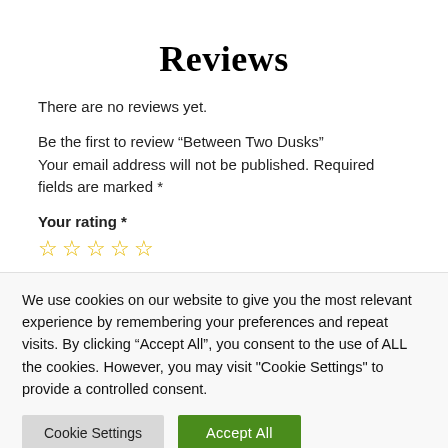Reviews
There are no reviews yet.
Be the first to review “Between Two Dusks”
Your email address will not be published. Required fields are marked *
Your rating *
We use cookies on our website to give you the most relevant experience by remembering your preferences and repeat visits. By clicking “Accept All”, you consent to the use of ALL the cookies. However, you may visit "Cookie Settings" to provide a controlled consent.